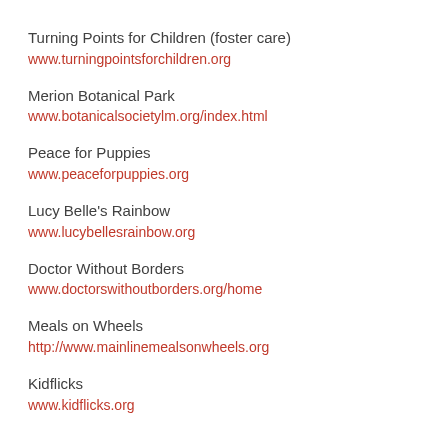Turning Points for Children (foster care)
www.turningpointsforchildren.org
Merion Botanical Park
www.botanicalsocietylm.org/index.html
Peace for Puppies
www.peaceforpuppies.org
Lucy Belle's Rainbow
www.lucybellesrainbow.org
Doctor Without Borders
www.doctorswithoutborders.org/home
Meals on Wheels
http://www.mainlinemealsonwheels.org
Kidflicks
www.kidflicks.org